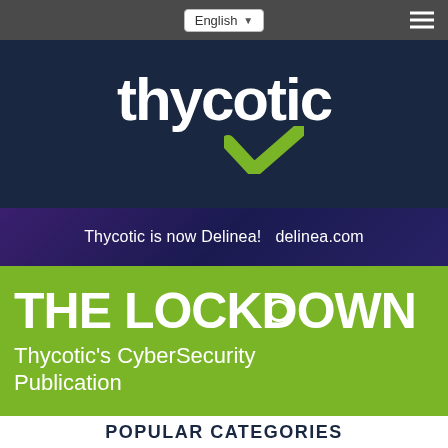English  ☰
[Figure (logo): Thycotic logo: white bold text 'thycotic' with a green checkmark/arrow symbol below]
Thycotic is now Delinea!  delinea.com
THE LOCKDOWN
Thycotic's CyberSecurity Publication
POPULAR CATEGORIES